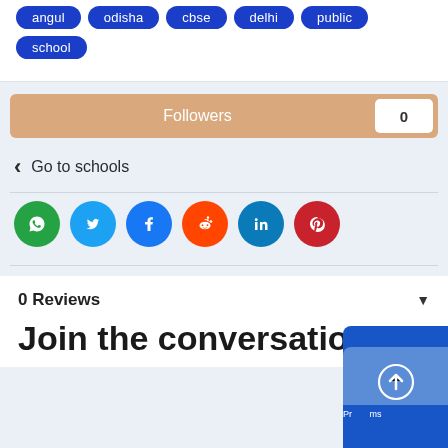angul
odisha
cbse
delhi
public
school
Followers 0
Go to schools
[Figure (infographic): Row of social media share icons: WhatsApp (green), Twitter (blue), Facebook (dark blue), Reddit (orange), LinkedIn (teal), Pinterest (red)]
0 Reviews
Join the conversation